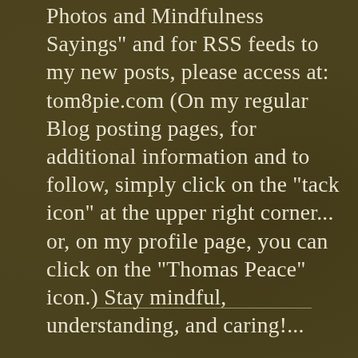Photos and Mindfulness Sayings" and for RSS feeds to my new posts, please access at: tom8pie.com (On my regular Blog posting pages, for additional information and to follow, simply click on the "tack icon" at the upper right corner... or, on my profile page, you can click on the "Thomas Peace" icon.) Stay mindful, understanding, and caring!...